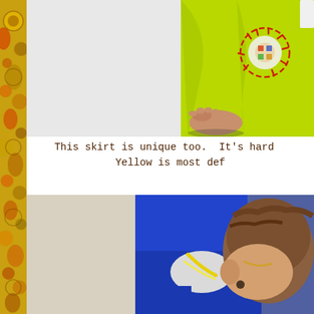[Figure (photo): Close-up photo of person in yellow-green garment with embroidered circular patch design, bare foot visible on dark surface]
This skirt is unique too. It's hard  Yellow is most def
[Figure (photo): Photo of child lying down wearing blue clothing, viewed from above]